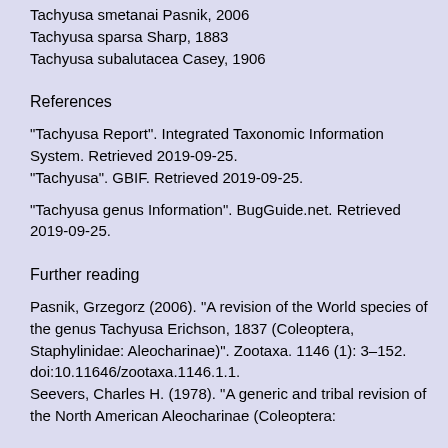Tachyusa smetanai Pasnik, 2006
Tachyusa sparsa Sharp, 1883
Tachyusa subalutacea Casey, 1906
References
"Tachyusa Report". Integrated Taxonomic Information System. Retrieved 2019-09-25.
"Tachyusa". GBIF. Retrieved 2019-09-25.
"Tachyusa genus Information". BugGuide.net. Retrieved 2019-09-25.
Further reading
Pasnik, Grzegorz (2006). "A revision of the World species of the genus Tachyusa Erichson, 1837 (Coleoptera, Staphylinidae: Aleocharinae)". Zootaxa. 1146 (1): 3–152. doi:10.11646/zootaxa.1146.1.1.
Seevers, Charles H. (1978). "A generic and tribal revision of the North American Aleocharinae (Coleoptera: